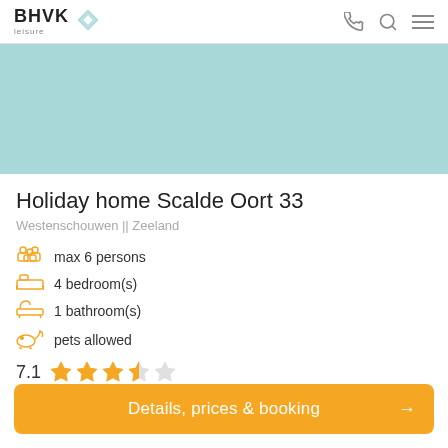BHVK leisure — navigation header with phone, search, and menu icons
[Figure (photo): Light teal/mint colored hero image banner area]
Holiday home Scalde Oort 33
Westenschouwen || Zeeland
max 6 persons
4 bedroom(s)
1 bathroom(s)
pets allowed
7.1 rating — 3.5 out of 5 stars
Details, prices & booking →